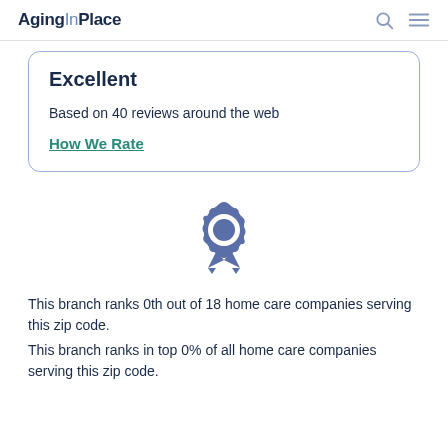AgingInPlace
Excellent
Based on 40 reviews around the web
How We Rate
[Figure (illustration): Badge/award ribbon icon in slate blue color]
This branch ranks 0th out of 18 home care companies serving this zip code.
This branch ranks in top 0% of all home care companies serving this zip code.